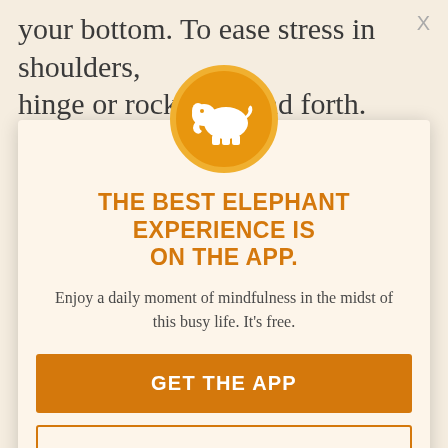your bottom. To ease stress in shoulders, hinge or rock back and forth. You'll feel the
release in your shoulders and is the next best thing to a shoulder massage.
So what are you waiting for? Hopefully, you're inspired to get moving...
[Figure (logo): Elephant Journal app logo: white elephant silhouette on orange circle]
THE BEST ELEPHANT EXPERIENCE IS ON THE APP.
Enjoy a daily moment of mindfulness in the midst of this busy life. It's free.
GET THE APP
OPEN IN APP